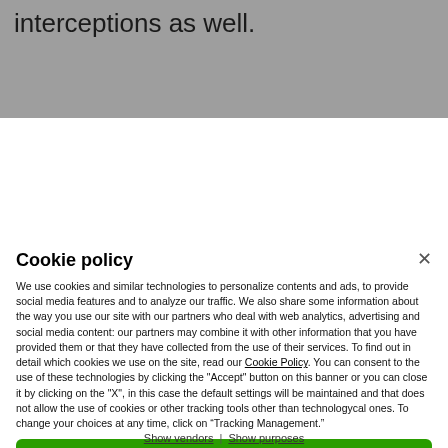interceptions as well.
Cookie policy
We use cookies and similar technologies to personalize contents and ads, to provide social media features and to analyze our traffic. We also share some information about the way you use our site with our partners who deal with web analytics, advertising and social media content: our partners may combine it with other information that you have provided them or that they have collected from the use of their services. To find out in detail which cookies we use on the site, read our Cookie Policy. You can consent to the use of these technologies by clicking the "Accept" button on this banner or you can close it by clicking on the "X", in this case the default settings will be maintained and that does not allow the use of cookies or other tracking tools other than technologycal ones. To change your choices at any time, click on “Tracking Management.”
ACCEPT
TRACKERS MANAGEMENT
Show vendors | Show purposes